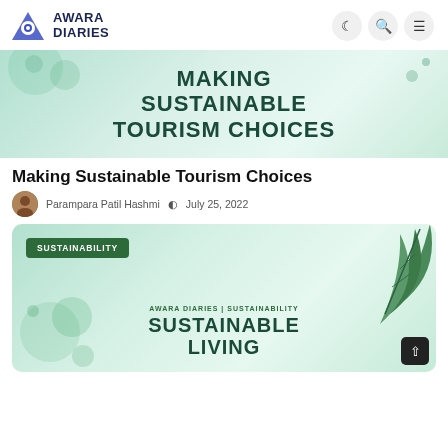Awara Diaries — navigation bar with logo and icons
[Figure (illustration): Banner image with mint/teal watercolor background and bold dark teal text reading MAKING SUSTAINABLE TOURISM CHOICES]
Making Sustainable Tourism Choices
Parampara Patil Hashmi  July 25, 2022
[Figure (illustration): Banner image with mint/green watercolor background, green leaf illustration, SUSTAINABILITY badge, and text AWARA DIARIES | SUSTAINABILITY / SUSTAINABLE LIVING]